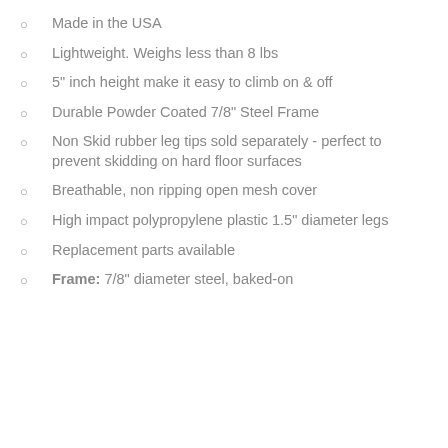Made in the USA
Lightweight. Weighs less than 8 lbs
5" inch height make it easy to climb on & off
Durable Powder Coated 7/8" Steel Frame
Non Skid rubber leg tips sold separately - perfect to prevent skidding on hard floor surfaces
Breathable, non ripping open mesh cover
High impact polypropylene plastic 1.5" diameter legs
Replacement parts available
Frame: 7/8" diameter steel, baked-on